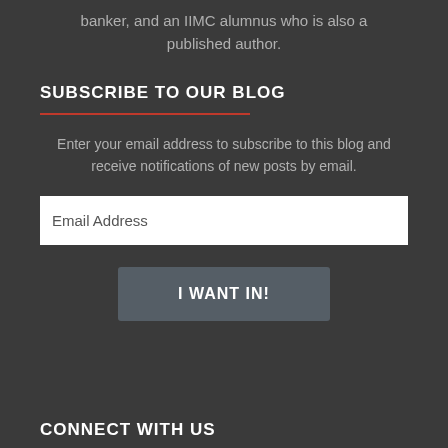banker, and an IIMC alumnus who is also a published author.
SUBSCRIBE TO OUR BLOG
Enter your email address to subscribe to this blog and receive notifications of new posts by email.
Email Address
I WANT IN!
CONNECT WITH US